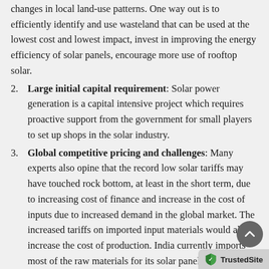changes in local land-use patterns. One way out is to efficiently identify and use wasteland that can be used at the lowest cost and lowest impact, invest in improving the energy efficiency of solar panels, encourage more use of rooftop solar.
Large initial capital requirement: Solar power generation is a capital intensive project which requires proactive support from the government for small players to set up shops in the solar industry.
Global competitive pricing and challenges: Many experts also opine that the record low solar tariffs may have touched rock bottom, at least in the short term, due to increasing cost of finance and increase in the cost of inputs due to increased demand in the global market. The increased tariffs on imported input materials would also increase the cost of production. India currently imports most of the raw materials for its solar panels. India faces competitive challenges from other countries which lie in the tropical and te